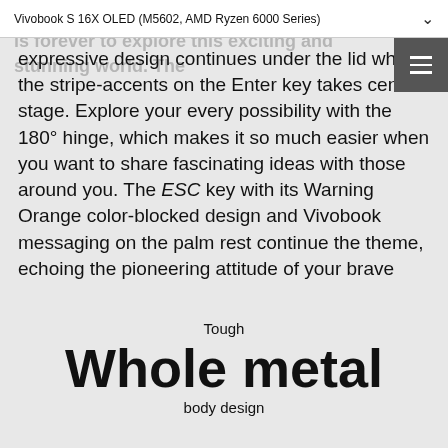Vivobook S 16X OLED (M5602, AMD Ryzen 6000 Series)
expressive design continues under the lid where the stripe-accents on the Enter key takes center stage. Explore your every possibility with the 180° hinge, which makes it so much easier when you want to share fascinating ideas with those around you. The ESC key with its Warning Orange color-blocked design and Vivobook messaging on the palm rest continue the theme, echoing the pioneering attitude of your brave new world.
Tough
Whole metal
body design